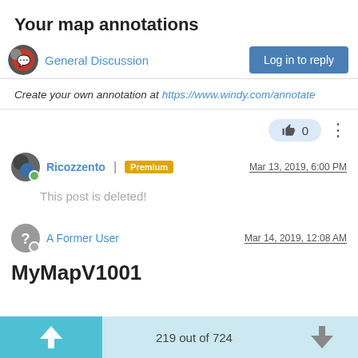Your map annotations
General Discussion | Log in to reply
Create your own annotation at https://www.windy.com/annotate
👍 0
Ricozzento | Premium | Mar 13, 2019, 6:00 PM
This post is deleted!
A Former User | Mar 14, 2019, 12:08 AM
MyMapV1001
219 out of 724